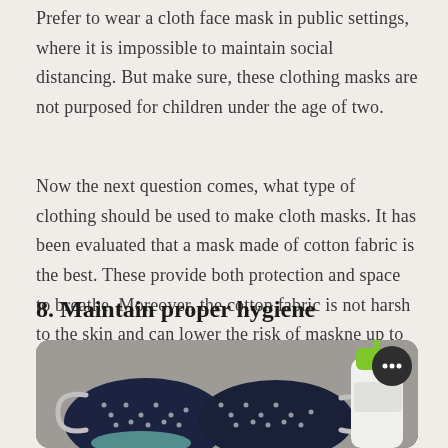Prefer to wear a cloth face mask in public settings, where it is impossible to maintain social distancing. But make sure, these clothing masks are not purposed for children under the age of two.
Now the next question comes, what type of clothing should be used to make cloth masks. It has been evaluated that a mask made of cotton fabric is the best. These provide both protection and space to breathe. Moreover, the cotton fabric is not harsh to the skin and can lower the risk of maskne up to great extent.
8. Maintain proper hygiene
[Figure (photo): Photo showing two dark navy cloth face masks with white anchor patterns laid on a gray surface, alongside a green-capped white bottle of hand sanitizer or soap. A dark circle chat/more-options button is visible in the top right of the image.]